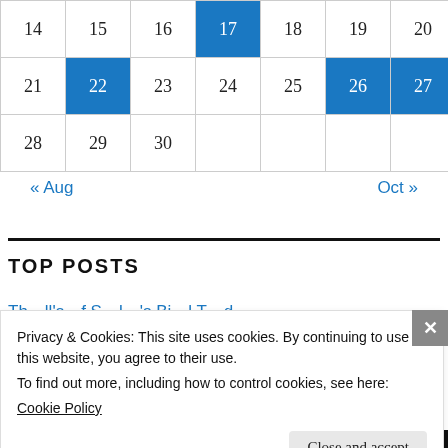| 14 | 15 | 16 | 17 | 18 | 19 | 20 |
| 21 | 22 | 23 | 24 | 25 | 26 | 27 |
| 28 | 29 | 30 |  |  |  |  |
« Aug    Oct »
TOP POSTS
Privacy & Cookies: This site uses cookies. By continuing to use this website, you agree to their use.
To find out more, including how to control cookies, see here:
Cookie Policy